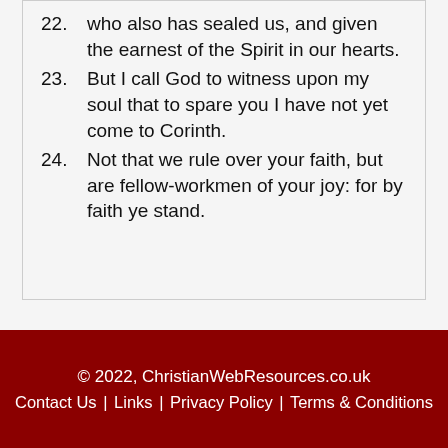22. who also has sealed us, and given the earnest of the Spirit in our hearts.
23. But I call God to witness upon my soul that to spare you I have not yet come to Corinth.
24. Not that we rule over your faith, but are fellow-workmen of your joy: for by faith ye stand.
© 2022, ChristianWebResources.co.uk  Contact Us | Links | Privacy Policy | Terms & Conditions